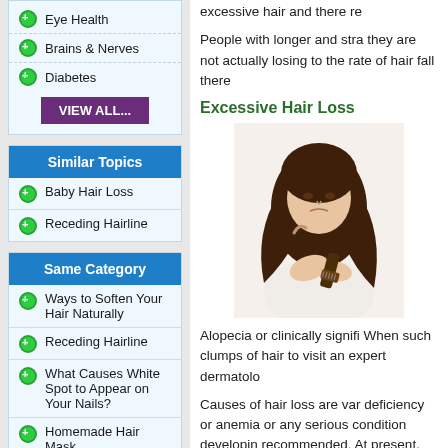Eye Health
Brains & Nerves
Diabetes
VIEW ALL...
Similar Topics
Baby Hair Loss
Receding Hairline
Same Category
Ways to Soften Your Hair Naturally
Receding Hairline
What Causes White Spot to Appear on Your Nails?
Homemade Hair Mask
How to Thin out Hair
excessive hair and there re
People with longer and stra they are not actually losing to the rate of hair fall there
Excessive Hair Loss
[Figure (photo): Woman with long dark curly hair looking at a hairbrush with a concerned expression]
Alopecia or clinically signifi When such clumps of hair to visit an expert dermatolo
Causes of hair loss are var deficiency or anemia or any serious condition developin recommended. At present, critical issue and are pursu